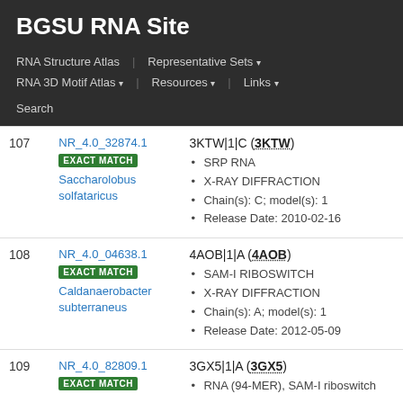BGSU RNA Site
RNA Structure Atlas | Representative Sets ▾ | RNA 3D Motif Atlas ▾ | Resources ▾ | Links ▾ | Search
| # | ID / Badge / Species | Structure Info |
| --- | --- | --- |
| 107 | NR_4.0_32874.1 | EXACT MATCH | Saccharolobus solfataricus | 3KTW|1|C (3KTW) • SRP RNA • X-RAY DIFFRACTION • Chain(s): C; model(s): 1 • Release Date: 2010-02-16 |
| 108 | NR_4.0_04638.1 | EXACT MATCH | Caldanaerobacter subterraneus | 4AOB|1|A (4AOB) • SAM-I RIBOSWITCH • X-RAY DIFFRACTION • Chain(s): A; model(s): 1 • Release Date: 2012-05-09 |
| 109 | NR_4.0_82809.1 | EXACT MATCH | 3GX5|1|A (3GX5) • RNA (94-MER), SAM-I riboswitch |